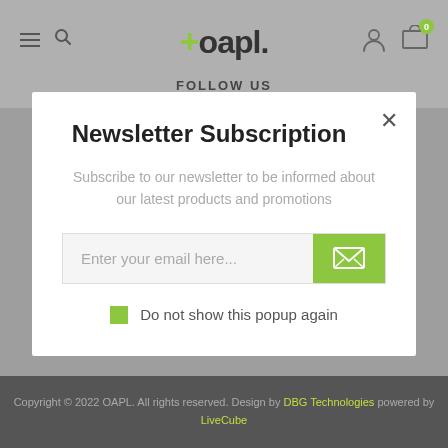[Figure (screenshot): Website header with hamburger menu, search icon, +oapl. logo, user icon, and cart icon with 0 badge]
FOLLOW US
Newsletter Subscription
Subscribe to our newsletter to be informed about our latest products and promotions
Enter your email here...
Do not show this popup again
Copyright © 2022 OAPL. All rights reserved. Design by DBG Technologies powered by LiveCube